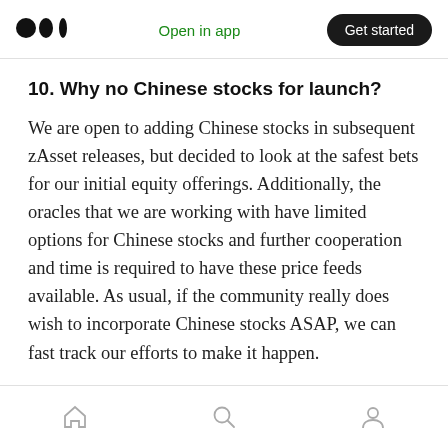Open in app | Get started
10. Why no Chinese stocks for launch?
We are open to adding Chinese stocks in subsequent zAsset releases, but decided to look at the safest bets for our initial equity offerings. Additionally, the oracles that we are working with have limited options for Chinese stocks and further cooperation and time is required to have these price feeds available. As usual, if the community really does wish to incorporate Chinese stocks ASAP, we can fast track our efforts to make it happen.
Home | Search | Profile